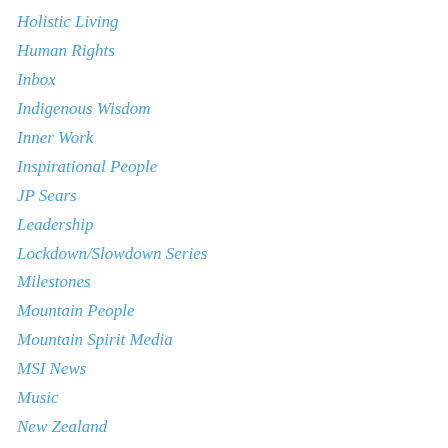Holistic Living
Human Rights
Inbox
Indigenous Wisdom
Inner Work
Inspirational People
JP Sears
Leadership
Lockdown/Slowdown Series
Milestones
Mountain People
Mountain Spirit Media
MSI News
Music
New Zealand
NWO
Off Grid Living
Open Mind Project
Peru
Power of Place